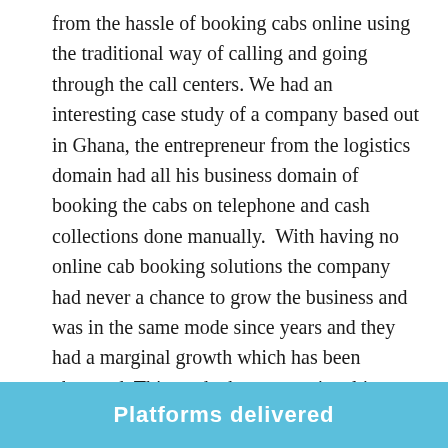from the hassle of booking cabs online using the traditional way of calling and going through the call centers. We had an interesting case study of a company based out in Ghana, the entrepreneur from the logistics domain had all his business domain of booking the cabs on telephone and cash collections done manually.  With having no online cab booking solutions the company had never a chance to grow the business and was in the same mode since years and they had a marginal growth which has been observed. This made them operational issues such as loosing out the valued customers, loosing out the drivers who were brought in mode cash for the company, missing our assets on the road and fuel theft and cash shortfall issues.
Platforms delivered